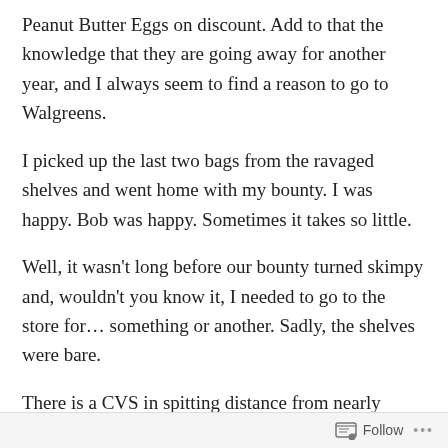Peanut Butter Eggs on discount. Add to that the knowledge that they are going away for another year, and I always seem to find a reason to go to Walgreens.
I picked up the last two bags from the ravaged shelves and went home with my bounty. I was happy. Bob was happy. Sometimes it takes so little.
Well, it wasn't long before our bounty turned skimpy and, wouldn't you know it, I needed to go to the store for… something or another. Sadly, the shelves were bare.
There is a CVS in spitting distance from nearly every Walgreens, so I meandered over. I was too late. Some other desperate, I mean deal-hunting, people had confiscated everything but the jelly bird eggs. When did
Follow ···